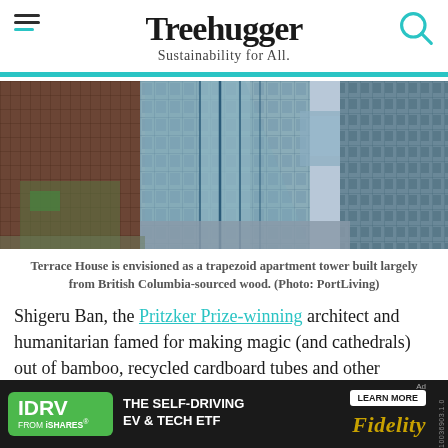Treehugger — Sustainability for All.
[Figure (photo): Aerial/street view of modern glass and brick high-rise apartment towers in Vancouver, with waterfront visible in background.]
Terrace House is envisioned as a trapezoid apartment tower built largely from British Columbia-sourced wood. (Photo: PortLiving)
Shigeru Ban, the Pritzker Prize-winning architect and humanitarian famed for making magic (and cathedrals) out of bamboo, recycled cardboard tubes and other natural materials, and the city of Vancouver considere[d]
[Figure (other): Advertisement: IDRV from iShares — The Self-Driving EV & Tech ETF — Learn More — Fidelity]